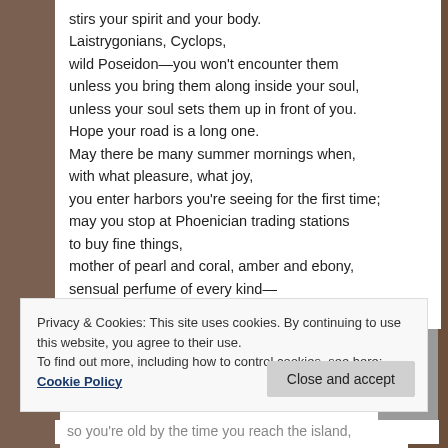stirs your spirit and your body.
Laistrygonians, Cyclops,
wild Poseidon—you won't encounter them
unless you bring them along inside your soul,
unless your soul sets them up in front of you.
Hope your road is a long one.
May there be many summer mornings when,
with what pleasure, what joy,
you enter harbors you're seeing for the first time;
may you stop at Phoenician trading stations
to buy fine things,
mother of pearl and coral, amber and ebony,
sensual perfume of every kind—
as many sensual perfumes as you can;
Privacy & Cookies: This site uses cookies. By continuing to use this website, you agree to their use.
To find out more, including how to control cookies, see here: Cookie Policy
so you're old by the time you reach the island,